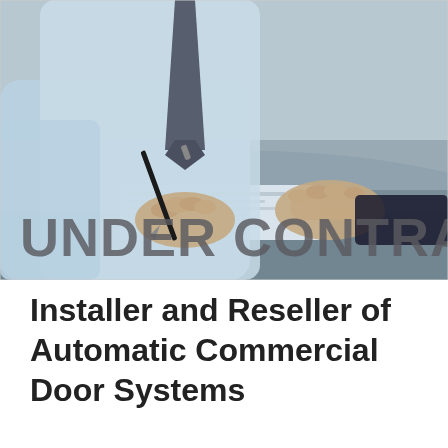[Figure (photo): A man in a light blue dress shirt and dark tie signing a document on a reflective table. His left hand rests on papers. Large bold text overlaid reads 'UNDER CONTRACT' in dark gray letters.]
Installer and Reseller of Automatic Commercial Door Systems